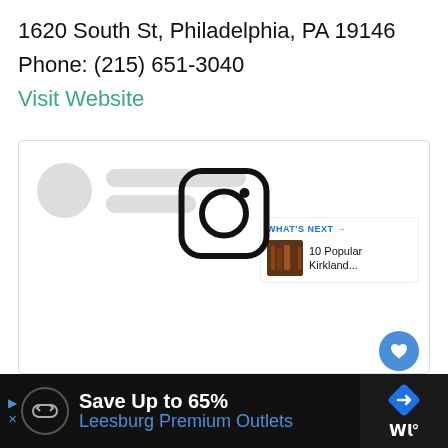1620 South St, Philadelphia, PA 19146
Phone: (215) 651-3040
Visit Website
[Figure (screenshot): Embedded social media widget loading placeholder with circle avatar and grey line placeholders, heart/favorite button (blue), share button, and What's Next panel showing '10 Popular Kirkland...' with book shelf thumbnail image, and Instagram logo icon in center]
[Figure (screenshot): Advertisement bar at bottom: Save Up to 65% Leesburg Premium Outlets, with navigation arrow icon and weather app icon on right]